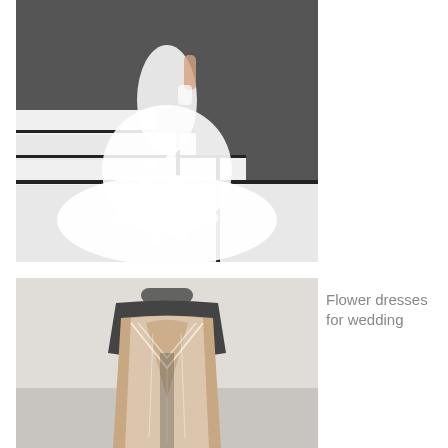[Figure (photo): A woman wearing a white floral lace mermaid wedding gown with long sleeves, standing on modern white stairs with black accents against a dark brick wall background.]
[Figure (photo): A wedding dress displayed on a mannequin bust, showing the back of a lace and sheer corset bodice with nude/champagne underlining, viewed from behind.]
Flower dresses for wedding